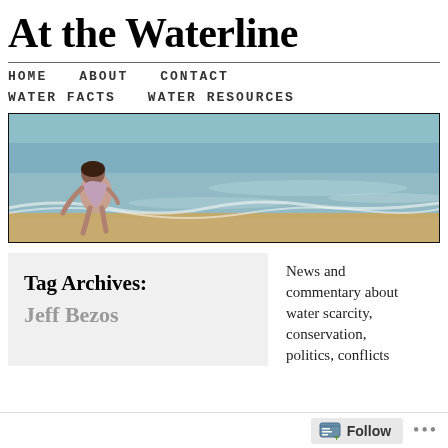At the Waterline
HOME   ABOUT   CONTACT   WATER FACTS   WATER RESOURCES
[Figure (photo): A young child crouching at the shoreline of a beach, with shallow waves washing over sandy shore. Wide panoramic banner image.]
Tag Archives:
Jeff Bezos
News and commentary about water scarcity, conservation, politics, conflicts
Follow ...